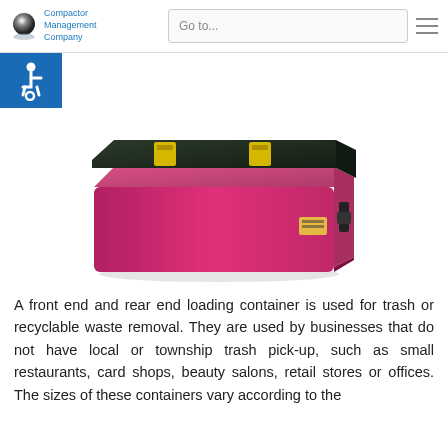Compactor Management Company — navigation bar with Go to... dropdown and hamburger menu
[Figure (illustration): Accessibility wheelchair icon on blue background]
[Figure (photo): Pink/magenta front end and rear end loading trash container with dark green lid and yellow latches]
A front end and rear end loading container is used for trash or recyclable waste removal. They are used by businesses that do not have local or township trash pick-up, such as small restaurants, card shops, beauty salons, retail stores or offices. The sizes of these containers vary according to the purpose they serve.